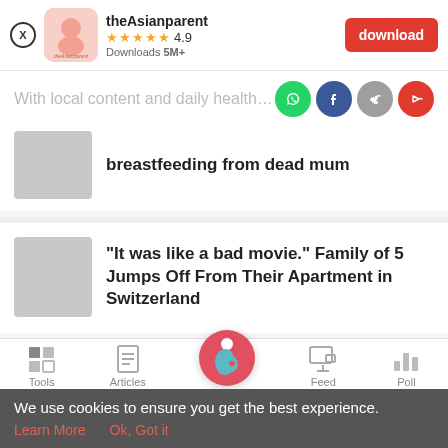[Figure (screenshot): theAsianparent app banner with icon, 4.9 star rating, 5M+ downloads, and download button]
With local content and daily health mo...
[Figure (infographic): Share icons: WhatsApp, Facebook, link, forward]
breastfeeding from dead mum
"It was like a bad movie." Family of 5 Jumps Off From Their Apartment in Switzerland
[Figure (infographic): Bottom navigation bar with Tools, Articles, Home (pregnant woman icon), Feed, Poll]
We use cookies to ensure you get the best experience.
Learn More   Ok, Got it